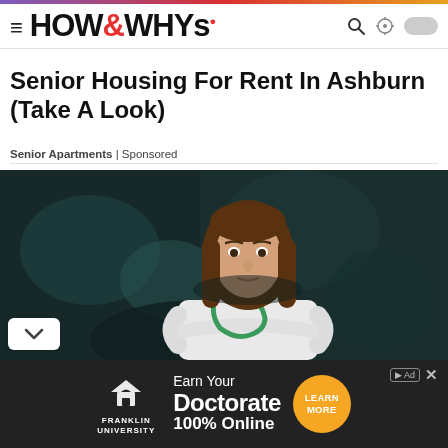HOW&WHYs
Senior Housing For Rent In Ashburn (Take A Look)
Senior Apartments | Sponsored
[Figure (photo): A female doctor or medical professional in a white coat with a green stethoscope, arms crossed, against a dark teal background.]
[Figure (infographic): Franklin University advertisement: Earn Your Doctorate 100% Online — Learn More button (orange circle).]